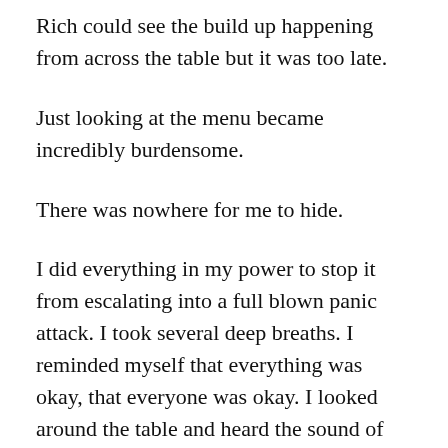Rich could see the build up happening from across the table but it was too late.
Just looking at the menu became incredibly burdensome.
There was nowhere for me to hide.
I did everything in my power to stop it from escalating into a full blown panic attack. I took several deep breaths. I reminded myself that everything was okay, that everyone was okay. I looked around the table and heard the sound of laughter. I noticed the biggest smile on my birthday girl’s face.